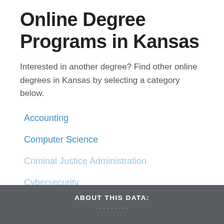Online Degree Programs in Kansas
Interested in another degree? Find other online degrees in Kansas by selecting a category below.
Accounting
Computer Science
Criminal Justice Administration
Cybersecurity
View All
ABOUT THIS DATA: